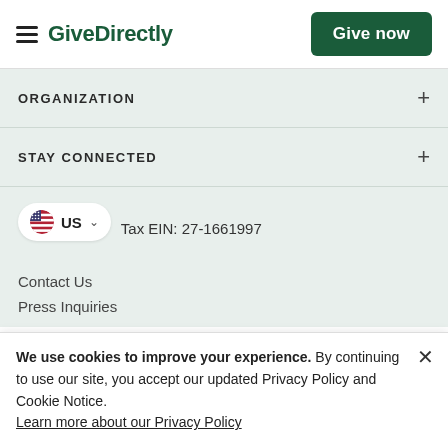GiveDirectly | Give now
ORGANIZATION
STAY CONNECTED
US  Tax EIN: 27-1661997
Contact Us
Press Inquiries
We use cookies to improve your experience. By continuing to use our site, you accept our updated Privacy Policy and Cookie Notice. Learn more about our Privacy Policy